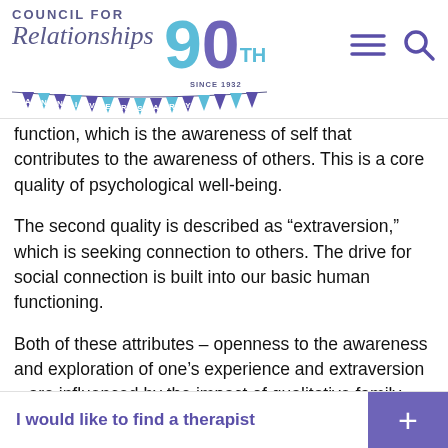[Figure (logo): Council for Relationships 90th Anniversary logo with bunting, hamburger menu icon, and search icon]
function, which is the awareness of self that contributes to the awareness of others. This is a core quality of psychological well-being.
The second quality is described as “extraversion,” which is seeking connection to others. The drive for social connection is built into our basic human functioning.
Both of these attributes – openness to the awareness and exploration of one’s experience and extraversion – are influenced by the impact of qualitative family dynamics on child development and the impact of
I would like to find a therapist